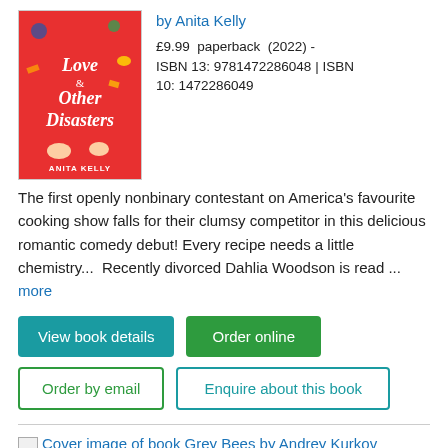[Figure (illustration): Book cover for 'Love & Other Disasters' by Anita Kelly, red background with cartoon figures and text]
by Anita Kelly
£9.99  paperback  (2022) - ISBN 13: 9781472286048 | ISBN 10: 1472286049
The first openly nonbinary contestant on America's favourite cooking show falls for their clumsy competitor in this delicious romantic comedy debut! Every recipe needs a little chemistry...  Recently divorced Dahlia Woodson is read ... more
View book details
Order online
Order by email
Enquire about this book
[Figure (illustration): Cover image of book Grey Bees by Andrey Kurkov (broken image placeholder)]
Cover image of book Grey Bees by Andrey Kurkov